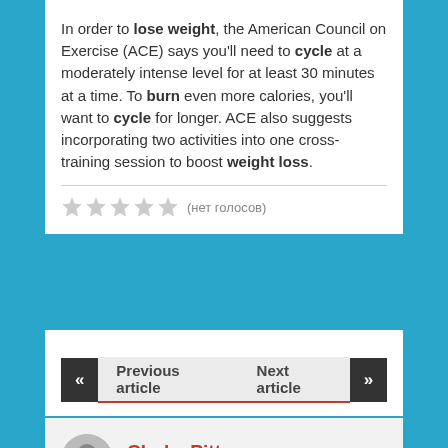In order to lose weight, the American Council on Exercise (ACE) says you'll need to cycle at a moderately intense level for at least 30 minutes at a time. To burn even more calories, you'll want to cycle for longer. ACE also suggests incorporating two activities into one cross-training session to boost weight loss.
(нет голосов)
Previous article
Next article
Clarke Pitt
admin@mpagbse.co.uk